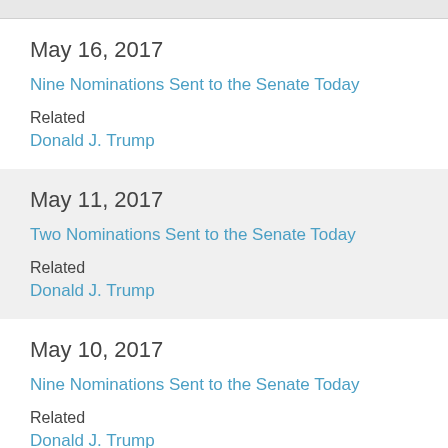May 16, 2017
Nine Nominations Sent to the Senate Today
Related
Donald J. Trump
May 11, 2017
Two Nominations Sent to the Senate Today
Related
Donald J. Trump
May 10, 2017
Nine Nominations Sent to the Senate Today
Related
Donald J. Trump